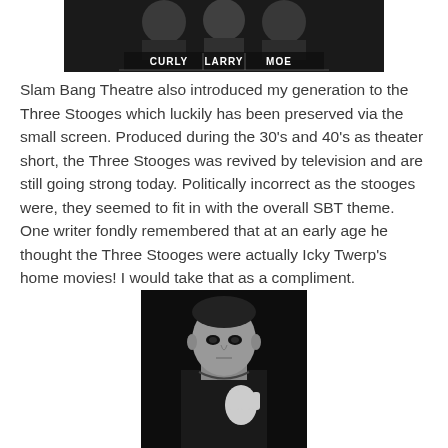[Figure (photo): Black and white photo of the Three Stooges (Curly, Larry, Moe) with their names labeled at the bottom]
Slam Bang Theatre also introduced my generation to the Three Stooges which luckily has been preserved via the small screen. Produced during the 30's and 40's as theater short, the Three Stooges was revived by television and are still going strong today. Politically incorrect as the stooges were, they seemed to fit in with the overall SBT theme. One writer fondly remembered that at an early age he thought the Three Stooges were actually Icky Twerp's home movies! I would take that as a compliment.
[Figure (photo): Black and white portrait photo of a person in dark clothing making a hand gesture]